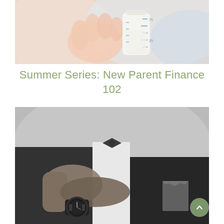[Figure (photo): Close-up photo of a baby's hand holding a milk bottle with measurement markings in blue]
Summer Series: New Parent Finance 102
[Figure (photo): Black and white photo of a man in a formal suit adjusting his bow tie, wearing a watch on his left wrist, with a pocket square visible]